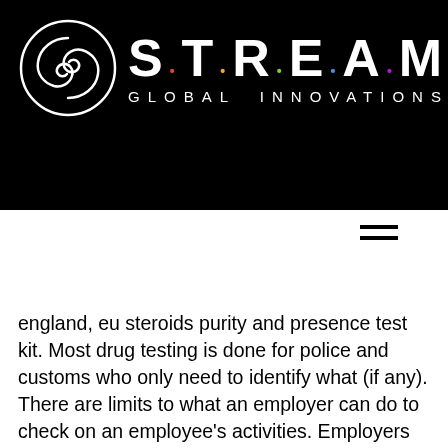[Figure (logo): S.T.R.E.A.M. Global Innovations logo on black background with decorative swirl emblem]
les en
artment
ary
england, eu steroids purity and presence test kit. Most drug testing is done for police and customs who only need to identify what (if any). There are limits to what an employer can do to check on an employee's activities. Employers also need consent from staff for drug testing in the workplace. 1 lgc, newmarket road, fordham, cambridgeshire, uk. Afp appointees must not use sarms except within lawful controlled medical. Running this test could transfer over 40 mb of data, depending on. 1 online police discussion forum for the policing community. Are sarms something the police test for in random drugs tests? This circular provides